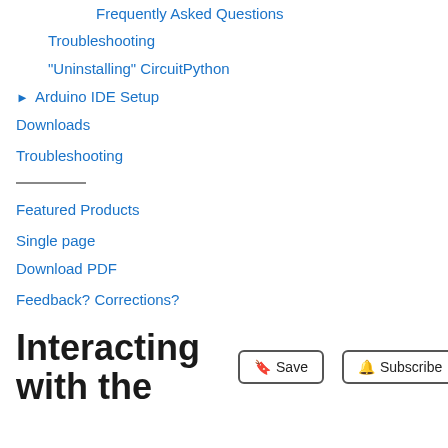Frequently Asked Questions
Troubleshooting
"Uninstalling" CircuitPython
▶ Arduino IDE Setup
Downloads
Troubleshooting
Featured Products
Single page
Download PDF
Feedback? Corrections?
Interacting with the